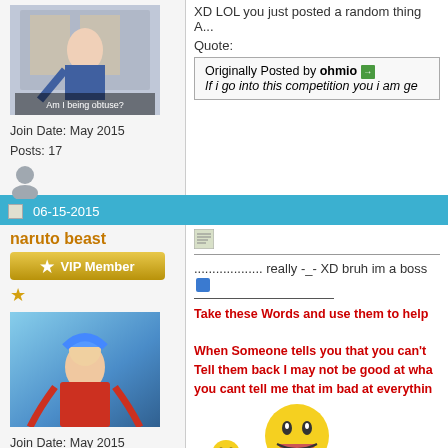XD LOL you just posted a random thing A...
Quote:
Originally Posted by ohmio
If i go into this competition you i am ge
Join Date: May 2015
Posts: 17
06-15-2015
naruto beast
VIP Member
Join Date: May 2015
Posts: 136
............... really -_- XD bruh im a boss
Take these Words and use them to help
When Someone tells you that you can't
Tell them back I may not be good at wha
you cant tell me that im bad at everythin